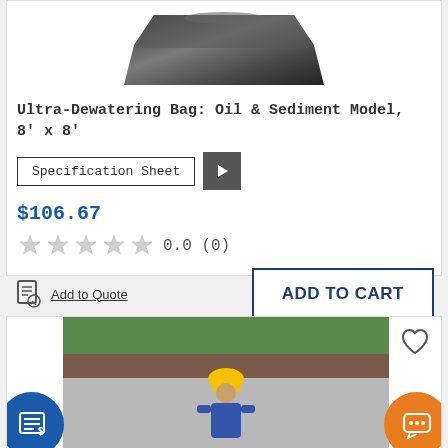[Figure (photo): Ultra-Dewatering Bag product image, dark/black bag shape on white background]
Ultra-Dewatering Bag: Oil & Sediment Model, 8' x 8'
Specification Sheet [button] [video play button]
$106.67
0.0 (0)
Add to Quote
ADD TO CART
[Figure (photo): Worker in yellow hard hat and blue coveralls crouching on a concrete surface, bottom section of the page. Blue circular quote icon on left, orange circular chat icon on right. Heart icon top right.]